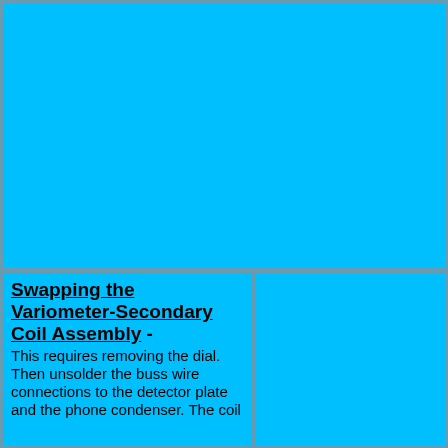[Figure (photo): Large cyan/blue image placeholder occupying the top portion of the page]
Swapping the Variometer-Secondary Coil Assembly - This requires removing the dial. Then unsolder the buss wire connections to the detector plate and the phone condenser. The coil
[Figure (photo): Large cyan/blue image placeholder occupying the right side of the bottom portion of the page]